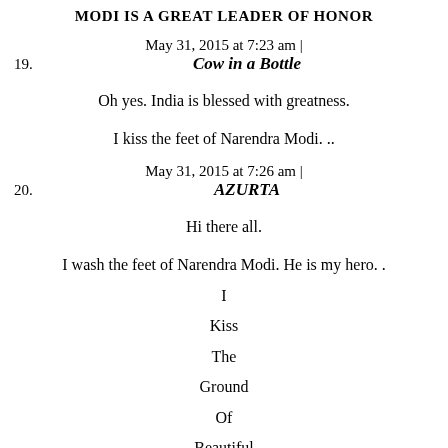MODI IS A GREAT LEADER OF HONOR
19. May 31, 2015 at 7:23 am | Cow in a Bottle
Oh yes. India is blessed with greatness.
I kiss the feet of Narendra Modi. ..
20. May 31, 2015 at 7:26 am | AZURTA
Hi there all.
I wash the feet of Narendra Modi. He is my hero. .
I

Kiss

The

Ground

Of

Beautiful